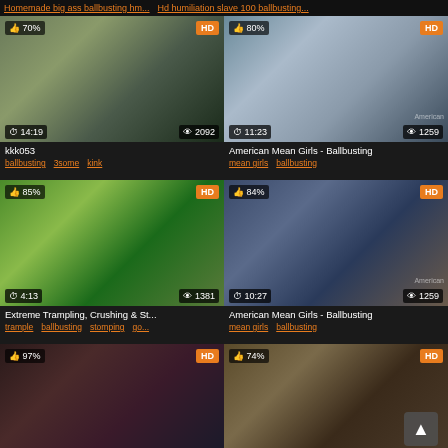Homemade big ass ballbusting hm... | Hd humiliation slave 100 ballbusting...
[Figure (screenshot): Video thumbnail grid showing adult content video listings with thumbnails, like/HD badges, duration, view counts, titles and tags]
kkk053
ballbusting 3some kink
American Mean Girls - Ballbusting
mean girls ballbusting
Extreme Trampling, Crushing & St...
trample ballbusting stomping go...
American Mean Girls - Ballbusting
mean girls ballbusting